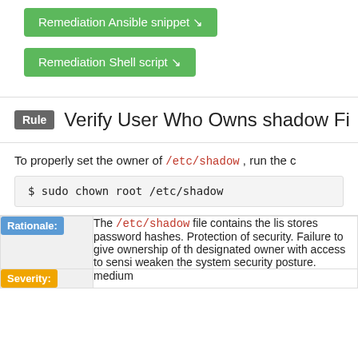Remediation Ansible snippet ↘
Remediation Shell script ↘
Rule  Verify User Who Owns shadow Fi...
To properly set the owner of /etc/shadow , run the c...
Rationale: The /etc/shadow file contains the lis... stores password hashes. Protection of... security. Failure to give ownership of th... designated owner with access to sensi... weaken the system security posture.
Severity: medium